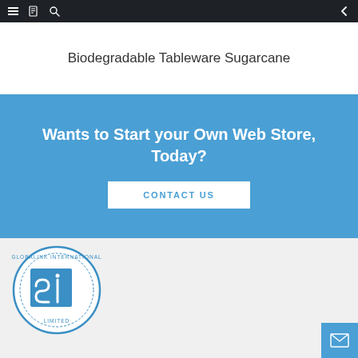Navigation bar with menu, book, search icons and back arrow
Biodegradable Tableware Sugarcane
Wants to Start your Own Web Store, Today?
CONTACT US
[Figure (logo): Globalink International Limited circular logo with 'si' monogram in blue]
[Figure (other): Mail/envelope icon button in blue]